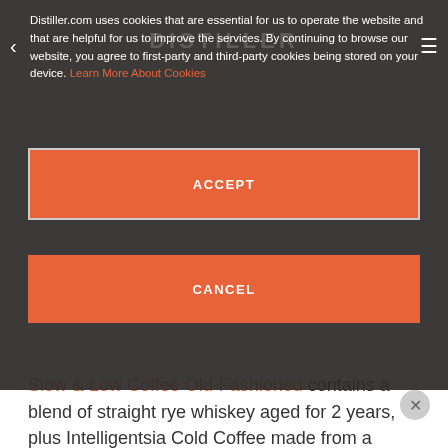Distiller.com uses cookies that are essential for us to operate the website and that are helpful for us to improve the services. By continuing to browse our website, you agree to first-party and third-party cookies being stored on your device. Learn More About Cookies
ACCEPT
CANCEL
Slow & Low Coffee Old-Fashioned contains a blend of straight rye whiskey aged for 2 years, plus Intelligentsia Cold Coffee made from a blend of coffees from Ethiopia, Guatemala and Peru, as well as raw honey, demerara cane sugar, aromatic bitters